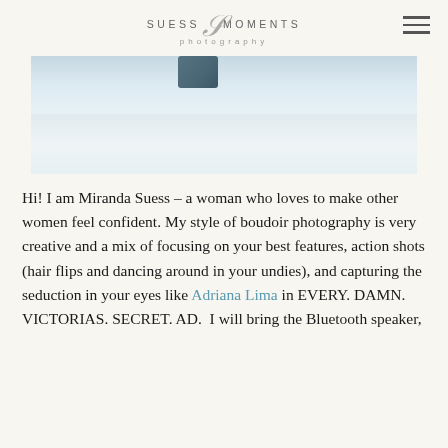[Figure (logo): Suess Moments Photography logo with stylized script S and sans-serif text]
[Figure (photo): Partial snowy outdoor scene with a blue object visible at top, snow texture in foreground with dark patches]
Hi! I am Miranda Suess – a woman who loves to make other women feel confident. My style of boudoir photography is very creative and a mix of focusing on your best features, action shots (hair flips and dancing around in your undies), and capturing the seduction in your eyes like Adriana Lima in EVERY. DAMN. VICTORIAS. SECRET. AD.  I will bring the Bluetooth speaker,